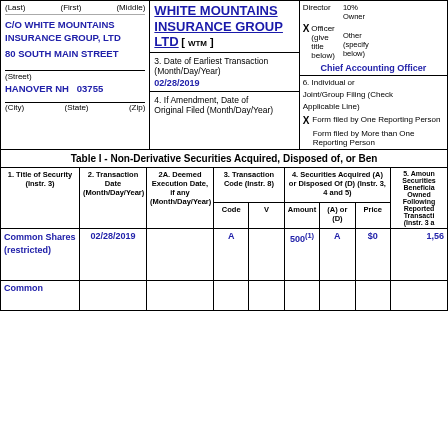(Last) (First) (Middle)
C/O WHITE MOUNTAINS INSURANCE GROUP, LTD
80 SOUTH MAIN STREET
(Street)
HANOVER NH   03755
(City) (State) (Zip)
WHITE MOUNTAINS INSURANCE GROUP LTD [ WTM ]
3. Date of Earliest Transaction (Month/Day/Year)
02/28/2019
4. If Amendment, Date of Original Filed (Month/Day/Year)
Director, Officer (give title below), 10% Owner, Other (specify below)
X Officer (give title below)
Chief Accounting Officer
6. Individual or Joint/Group Filing (Check Applicable Line)
X Form filed by One Reporting Person
Form filed by More than One Reporting Person
Table I - Non-Derivative Securities Acquired, Disposed of, or Ben...
| 1. Title of Security (Instr. 3) | 2. Transaction Date (Month/Day/Year) | 2A. Deemed Execution Date, if any (Month/Day/Year) | 3. Transaction Code (Instr. 8) - Code | 3. Transaction Code (Instr. 8) - V | 4. Securities Acquired (A) or Disposed Of (D) (Instr. 3, 4 and 5) - Amount | 4. Securities Acquired (A) or Disposed Of (D) (Instr. 3, 4 and 5) - (A) or (D) | 4. Securities Acquired (A) or Disposed Of (D) (Instr. 3, 4 and 5) - Price | 5. Amount of Securities Beneficially Owned Following Reported Transaction(s) (Instr. 3 and 4) |
| --- | --- | --- | --- | --- | --- | --- | --- | --- |
| Common Shares (restricted) | 02/28/2019 |  | A |  | 500(1) | A | $0 | 1,56... |
| Common |  |  |  |  |  |  |  |  |